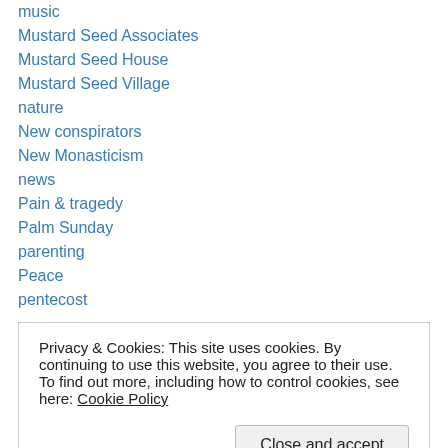music
Mustard Seed Associates
Mustard Seed House
Mustard Seed Village
nature
New conspirators
New Monasticism
news
Pain & tragedy
Palm Sunday
parenting
Peace
pentecost
Privacy & Cookies: This site uses cookies. By continuing to use this website, you agree to their use. To find out more, including how to control cookies, see here: Cookie Policy
Poverty